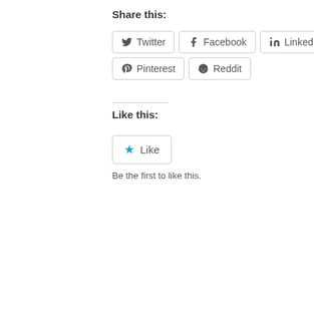Share this:
Twitter  Facebook  LinkedIn  E...  Pinterest  Reddit
Like this:
Like
Be the first to like this.